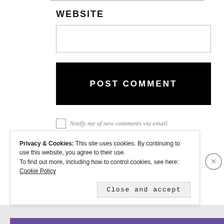WEBSITE
[Figure (screenshot): Empty text input field for website URL]
[Figure (screenshot): POST COMMENT button — black background with white uppercase text]
Notify me of new comments via email.
Notify me of new posts via email.
Privacy & Cookies: This site uses cookies. By continuing to use this website, you agree to their use.
To find out more, including how to control cookies, see here: Cookie Policy
Close and accept